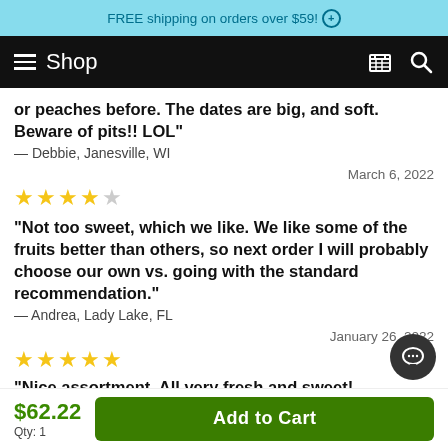FREE shipping on orders over $59! +
Shop
or peaches before. The dates are big, and soft. Beware of pits!! LOL"
— Debbie, Janesville, WI
March 6, 2022
★★★★☆
"Not too sweet, which we like. We like some of the fruits better than others, so next order I will probably choose our own vs. going with the standard recommendation."
— Andrea, Lady Lake, FL
January 26, 2022
★★★★★
"Nice assortment. All very fresh and sweet!!"
$62.22
Qty: 1
Add to Cart